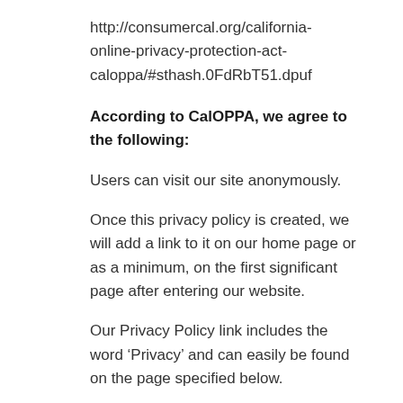http://consumercal.org/california-online-privacy-protection-act-caloppa/#sthash.0FdRbT51.dpuf
According to CalOPPA, we agree to the following:
Users can visit our site anonymously.
Once this privacy policy is created, we will add a link to it on our home page or as a minimum, on the first significant page after entering our website.
Our Privacy Policy link includes the word ‘Privacy’ and can easily be found on the page specified below.